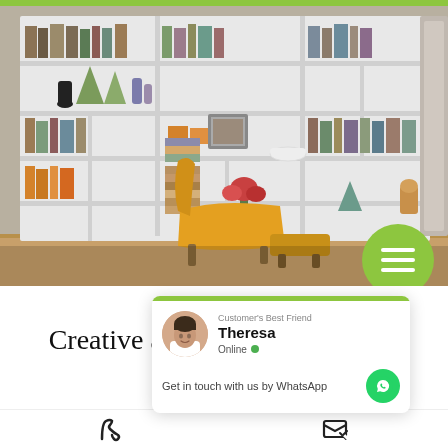[Figure (photo): Interior photo of a large white bookshelf filled with books, decorative items, and a yellow mid-century modern lounge chair in front.]
August 1, 2021 - Po…
Creative and Perfect Bookshelf